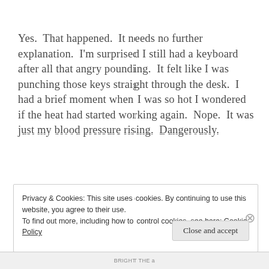Yes.  That happened.  It needs no further explanation.  I'm surprised I still had a keyboard after all that angry pounding.  It felt like I was punching those keys straight through the desk.  I had a brief moment when I was so hot I wondered if the heat had started working again.  Nope.  It was just my blood pressure rising.  Dangerously.
Privacy & Cookies: This site uses cookies. By continuing to use this website, you agree to their use.
To find out more, including how to control cookies, see here: Cookie Policy
Close and accept
BRIGHT THE a